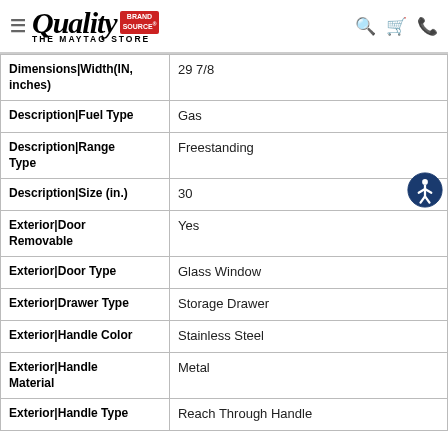Quality The Maytag Store — Brand Source
| Attribute | Value |
| --- | --- |
| Dimensions|Width(IN, inches) | 29 7/8 |
| Description|Fuel Type | Gas |
| Description|Range Type | Freestanding |
| Description|Size (in.) | 30 |
| Exterior|Door Removable | Yes |
| Exterior|Door Type | Glass Window |
| Exterior|Drawer Type | Storage Drawer |
| Exterior|Handle Color | Stainless Steel |
| Exterior|Handle Material | Metal |
| Exterior|Handle Type | Reach Through Handle |